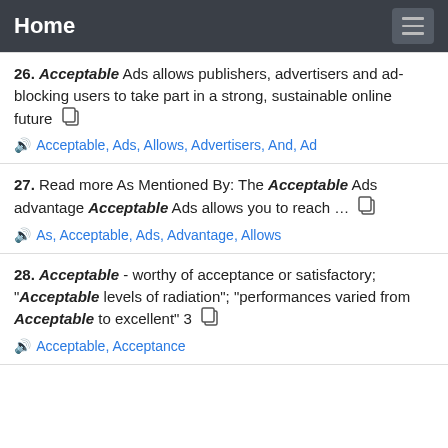Home
26. Acceptable Ads allows publishers, advertisers and ad-blocking users to take part in a strong, sustainable online future
Acceptable, Ads, Allows, Advertisers, And, Ad
27. Read more As Mentioned By: The Acceptable Ads advantage Acceptable Ads allows you to reach ...
As, Acceptable, Ads, Advantage, Allows
28. Acceptable - worthy of acceptance or satisfactory; "Acceptable levels of radiation"; "performances varied from Acceptable to excellent" 3
Acceptable, Acceptance